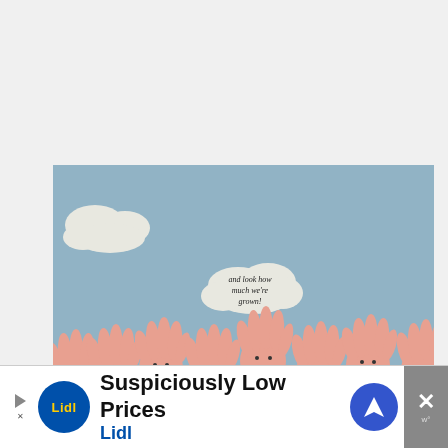[Figure (photo): A children's classroom art display on a blue-painted board showing hand-traced paper cutouts arranged as flowers with smiley faces drawn on the palms. A cloud cutout in the center contains the text 'and look how much we're grown!' There are additional cloud cutouts in the upper left area. The hand-flowers are pink/salmon colored with green stems.]
[Figure (infographic): Advertisement banner for Lidl supermarket showing 'Suspiciously Low Prices' text with Lidl logo (blue circle with yellow text) and a blue navigation/directions icon. There is an X close button on the right side.]